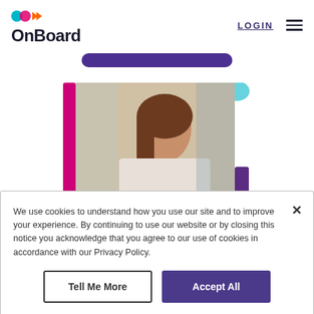[Figure (logo): OnBoard logo with colorful icon (teal circle, pink/magenta circle overlap, orange arrows) above the word OnBoard in dark navy bold font]
LOGIN
[Figure (photo): Woman with brown hair looking down at something, framed with magenta/pink border on left and purple/teal decorative shapes on upper right, office background]
We use cookies to understand how you use our site and to improve your experience. By continuing to use our website or by closing this notice you acknowledge that you agree to our use of cookies in accordance with our Privacy Policy.
Tell Me More
Accept All